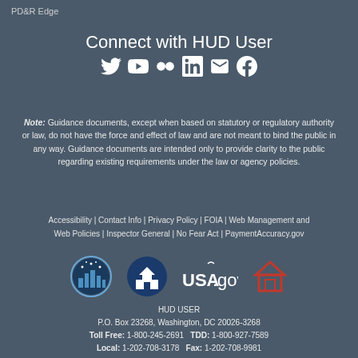PD&R Edge
Connect with HUD User
[Figure (illustration): Social media icons: Twitter, YouTube, Flickr, LinkedIn, Email, Facebook]
Note: Guidance documents, except when based on statutory or regulatory authority or law, do not have the force and effect of law and are not meant to bind the public in any way. Guidance documents are intended only to provide clarity to the public regarding existing requirements under the law or agency policies.
Accessibility | Contact Info | Privacy Policy | FOIA | Web Management and Web Policies | Inspector General | No Fear Act | PaymentAccuracy.gov
[Figure (logo): Four logos: HUD (city/stars logo), White House, USA.gov, Equal Housing logo]
HUD USER
P.O. Box 23268, Washington, DC 20026-3268
Toll Free: 1-800-245-2691   TDD: 1-800-927-7589
Local: 1-202-708-3178   Fax: 1-202-708-9981